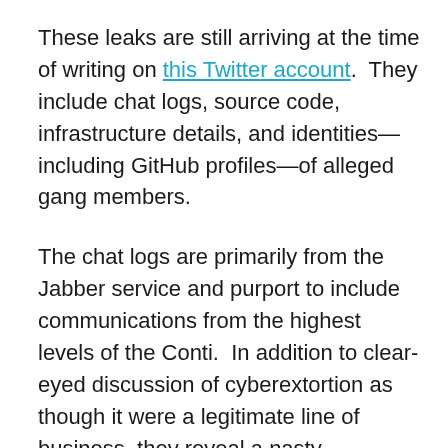These leaks are still arriving at the time of writing on this Twitter account. They include chat logs, source code, infrastructure details, and identities—including GitHub profiles—of alleged gang members.
The chat logs are primarily from the Jabber service and purport to include communications from the highest levels of the Conti. In addition to clear-eyed discussion of cyberextortion as though it were a legitimate line of business, they reveal a nasty environment of bigotry, antisemitism and misogyny, as well as a banal setting similar in tone to remote office workers everywhere.